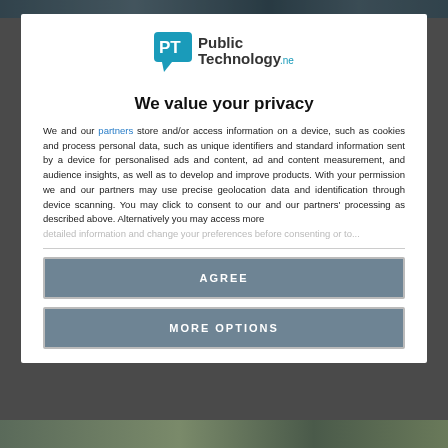[Figure (logo): PublicTechnology.net logo with PT speech bubble icon in teal/blue]
We value your privacy
We and our partners store and/or access information on a device, such as cookies and process personal data, such as unique identifiers and standard information sent by a device for personalised ads and content, ad and content measurement, and audience insights, as well as to develop and improve products. With your permission we and our partners may use precise geolocation data and identification through device scanning. You may click to consent to our and our partners' processing as described above. Alternatively you may access more detailed information and change your preferences before consenting...
AGREE
MORE OPTIONS